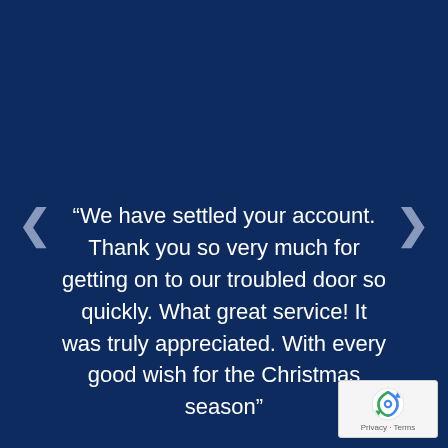“We have settled your account. Thank you so very much for getting on to our troubled door so quickly. What great service! It was truly appreciated. With every good wish for the Christmas season”
[Figure (other): reCAPTCHA badge with Privacy and Terms links]